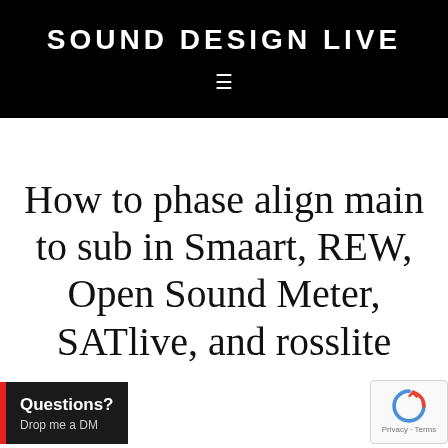SOUND DESIGN LIVE
How to phase align main to sub in Smaart, REW, Open Sound Meter, SATlive, and Crosslite